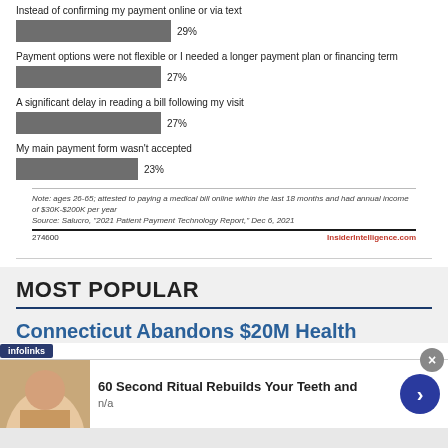[Figure (bar-chart): Reasons patients did not pay medical bills online]
Note: ages 26-65; attested to paying a medical bill online within the last 18 months and had annual income of $30K-$200K per year
Source: Salucro, "2021 Patient Payment Technology Report," Dec 6, 2021
274600    insiderIntelligence.com
MOST POPULAR
Connecticut Abandons $20M Health
[Figure (screenshot): Advertisement banner: infolinks badge, dental image of woman smiling, ad text '60 Second Ritual Rebuilds Your Teeth and', 'n/a', blue arrow button, and close X button]